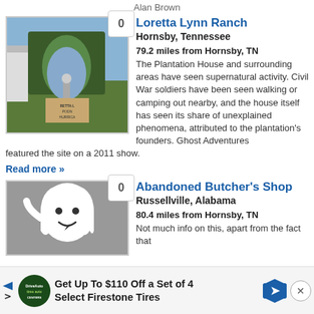Alan Brown
[Figure (photo): Photo of Loretta Lynn Ranch entrance with 'Coal Miner's Daughter' arch covered in ivy, with a vote badge showing 0]
Loretta Lynn Ranch
Hornsby, Tennessee
79.2 miles from Hornsby, TN
The Plantation House and surrounding areas have seen supernatural activity. Civil War soldiers have been seen walking or camping out nearby, and the house itself has seen its share of unexplained phenomena, attributed to the plantation's founders. Ghost Adventures featured the site on a 2011 show.
Read more »
[Figure (illustration): Ghost cartoon illustration on gray background with vote badge showing 0]
Abandoned Butcher's Shop
Russellville, Alabama
80.4 miles from Hornsby, TN
Not much info on this, apart from the fact that
Get Up To $110 Off a Set of 4 Select Firestone Tires